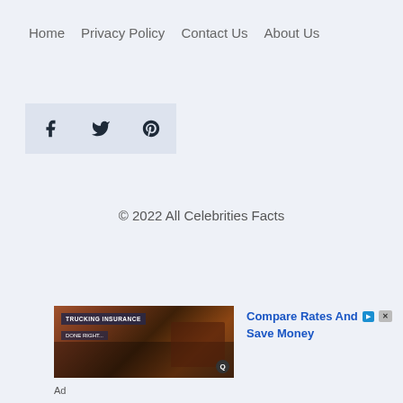Home  Privacy Policy  Contact Us  About Us
[Figure (other): Social media icons: Facebook, Twitter, Pinterest]
© 2022 All Celebrities Facts
[Figure (photo): Trucking insurance advertisement showing a truck with text overlay 'TRUCKING INSURANCE DONE RIGHT...' and an ad label]
Compare Rates And Save Money
Ad